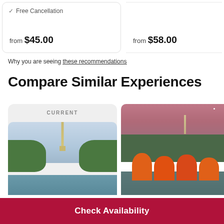✓ Free Cancellation
from $45.00
from $58.00
Why you are seeing these recommendations
Compare Similar Experiences
[Figure (photo): Current card showing Washington Monument from the Lincoln Memorial Reflecting Pool with kayakers in the foreground]
[Figure (photo): Group of kayakers in orange life vests on the Reflecting Pool at dusk with the Washington Monument in background]
[Figure (photo): Partial view of a third similar experience card with a red 'Like' badge]
Check Availability